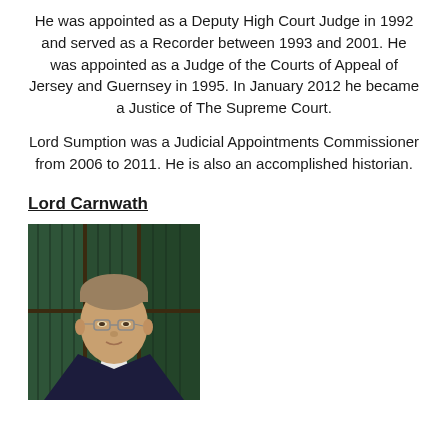He was appointed as a Deputy High Court Judge in 1992 and served as a Recorder between 1993 and 2001. He was appointed as a Judge of the Courts of Appeal of Jersey and Guernsey in 1995. In January 2012 he became a Justice of The Supreme Court.
Lord Sumption was a Judicial Appointments Commissioner from 2006 to 2011. He is also an accomplished historian.
Lord Carnwath
[Figure (photo): Portrait photograph of Lord Carnwath, an elderly man with grey-brown hair and glasses, wearing a dark suit and white shirt, seated in front of a bookshelf with green-bound volumes.]